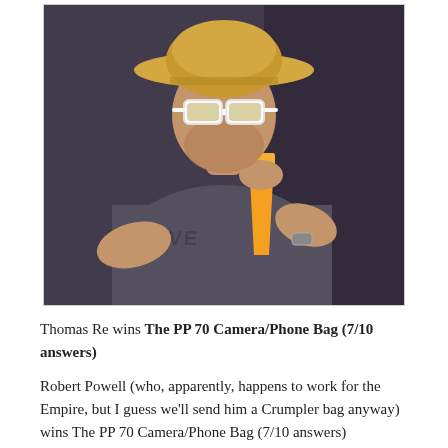[Figure (photo): A man wearing a straw hat and white sunglasses, drinking from an orange plastic cup. He is wearing a dark grey graphic t-shirt and a watch. The background appears dark.]
Thomas Re wins The PP 70 Camera/Phone Bag (7/10 answers)
Robert Powell (who, apparently, happens to work for the Empire, but I guess we'll send him a Crumpler bag anyway) wins The PP 70 Camera/Phone Bag (7/10 answers)